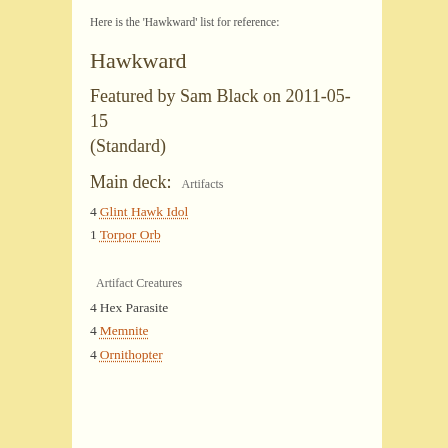Here is the ‘Hawkward’ list for reference:
Hawkward
Featured by Sam Black on 2011-05-15 (Standard)
Main deck:
Artifacts
4 Glint Hawk Idol
1 Torpor Orb
Artifact Creatures
4 Hex Parasite
4 Memnite
4 Ornithopter